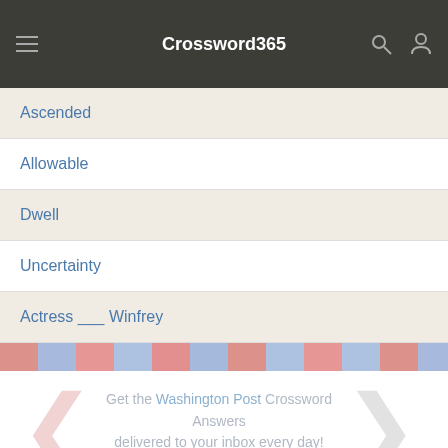Crossword365
Ascended
Allowable
Dwell
Uncertainty
Actress ___ Winfrey
[Figure (infographic): Advertisement banner with diagonal stripe pattern and text: Get the Washington Post Crossword Answers delivered to your inbox every day!]